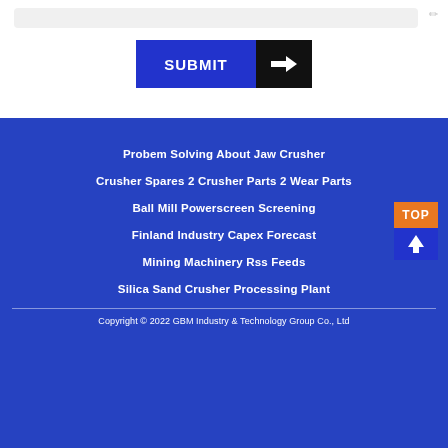[Figure (screenshot): Submit button with blue background and black arrow icon on the right]
Probem Solving About Jaw Crusher
Crusher Spares 2 Crusher Parts 2 Wear Parts
Ball Mill Powerscreen Screening
Finland Industry Capex Forecast
Mining Machinery Rss Feeds
Silica Sand Crusher Processing Plant
Copyright © 2022 GBM Industry & Technology Group Co., Ltd